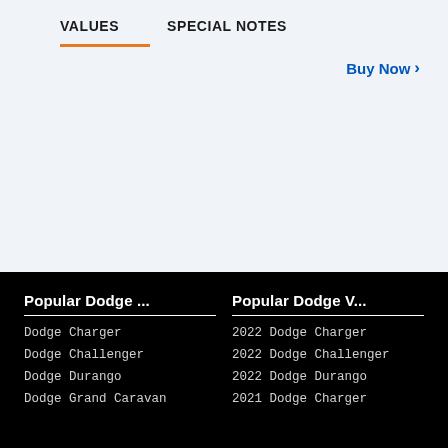VALUES  SPECIAL NOTES
Buy Now >
Popular Dodge ...
Dodge Charger
Dodge Challenger
Dodge Durango
Dodge Grand Caravan
Popular Dodge V...
2022 Dodge Charger
2022 Dodge Challenger
2022 Dodge Durango
2021 Dodge Charger